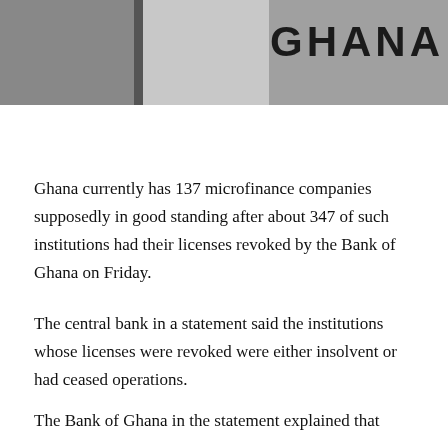[Figure (photo): Black and white photo showing building exterior with 'GHANA' text visible on the right side]
Ghana currently has 137 microfinance companies supposedly in good standing after about 347 of such institutions had their licenses revoked by the Bank of Ghana on Friday.
The central bank in a statement said the institutions whose licenses were revoked were either insolvent or had ceased operations.
The Bank of Ghana in the statement explained that